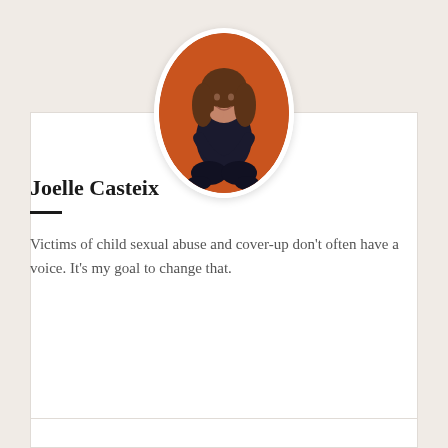[Figure (photo): Oval portrait photo of Joelle Casteix, a woman with brown hair sitting cross-legged against an orange background, resting her chin on her hand and smiling.]
Joelle Casteix
Victims of child sexual abuse and cover-up don't often have a voice. It's my goal to change that.